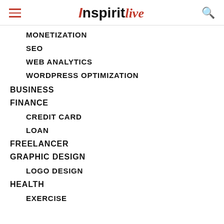InspiritLive
MONETIZATION
SEO
WEB ANALYTICS
WORDPRESS OPTIMIZATION
BUSINESS
FINANCE
CREDIT CARD
LOAN
FREELANCER
GRAPHIC DESIGN
LOGO DESIGN
HEALTH
EXERCISE